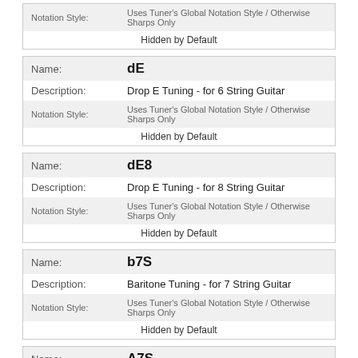| Field | Value |
| --- | --- |
| Notation Style: | Uses Tuner's Global Notation Style / Otherwise Sharps Only |
|  | Hidden by Default |
| Field | Value |
| --- | --- |
| Name: | dE |
| Description: | Drop E Tuning - for 6 String Guitar |
| Notation Style: | Uses Tuner's Global Notation Style / Otherwise Sharps Only |
|  | Hidden by Default |
| Field | Value |
| --- | --- |
| Name: | dE8 |
| Description: | Drop E Tuning - for 8 String Guitar |
| Notation Style: | Uses Tuner's Global Notation Style / Otherwise Sharps Only |
|  | Hidden by Default |
| Field | Value |
| --- | --- |
| Name: | b7S |
| Description: | Baritone Tuning - for 7 String Guitar |
| Notation Style: | Uses Tuner's Global Notation Style / Otherwise Sharps Only |
|  | Hidden by Default |
| Field | Value |
| --- | --- |
| Name: | A7S |
| Description: | Alt Drop A Baritone Tuning - for 7 String Guitar |
| Notation Style: | Uses Tuner's Global Notation Style / Otherwise Sharps Only |
|  | Hidden by Default |